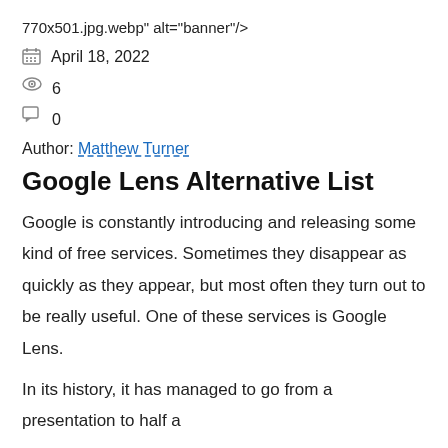770x501.jpg.webp" alt="banner"/>
April 18, 2022
6
0
Author: Matthew Turner
Google Lens Alternative List
Google is constantly introducing and releasing some kind of free services. Sometimes they disappear as quickly as they appear, but most often they turn out to be really useful. One of these services is Google Lens.
In its history, it has managed to go from a presentation to half a